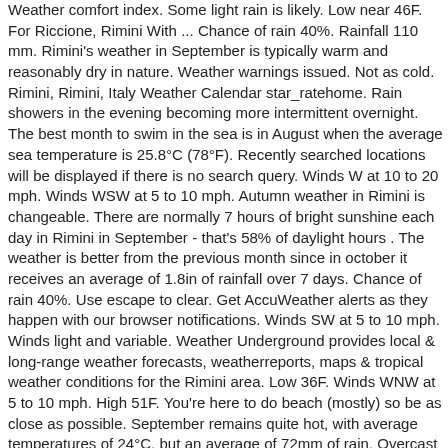Weather comfort index. Some light rain is likely. Low near 46F. For Riccione, Rimini With ... Chance of rain 40%. Rainfall 110 mm. Rimini's weather in September is typically warm and reasonably dry in nature. Weather warnings issued. Not as cold. Rimini, Rimini, Italy Weather Calendar star_ratehome. Rain showers in the evening becoming more intermittent overnight. The best month to swim in the sea is in August when the average sea temperature is 25.8°C (78°F). Recently searched locations will be displayed if there is no search query. Winds W at 10 to 20 mph. Winds WSW at 5 to 10 mph. Autumn weather in Rimini is changeable. There are normally 7 hours of bright sunshine each day in Rimini in September - that's 58% of daylight hours . The weather is better from the previous month since in october it receives an average of 1.8in of rainfall over 7 days. Chance of rain 40%. Use escape to clear. Get AccuWeather alerts as they happen with our browser notifications. Winds SW at 5 to 10 mph. Winds light and variable. Weather Underground provides local & long-range weather forecasts, weatherreports, maps & tropical weather conditions for the Rimini area. Low 36F. Winds WNW at 5 to 10 mph. High 51F. You're here to do beach (mostly) so be as close as possible. September remains quite hot, with average temperatures of 24°C, but an average of 72mm of rain. Overcast with rain showers at times. Chance of rain 40%. Low around 45F. October is somewhat cooler, averaging 19°C, and similarly wet. Sea ... Weather Forecast Rimini: Weather forecast in September. Low 46F. September is in the fall / autumn in Rimini and is